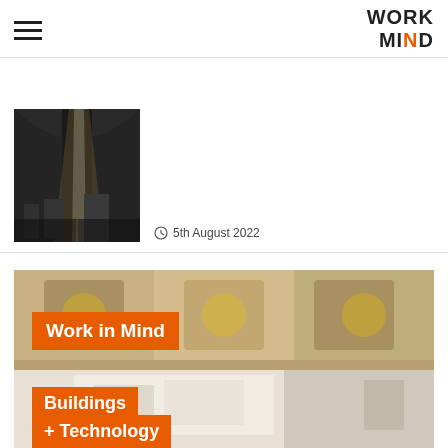WORK MIND
[Figure (photo): Black and white city street photo viewed from under an arch with light beams]
5th August 2022
[Figure (photo): Ornate gold ceiling building interior with orange overlaid text labels reading 'Work in Mind', 'Buildings', '+ Technology']